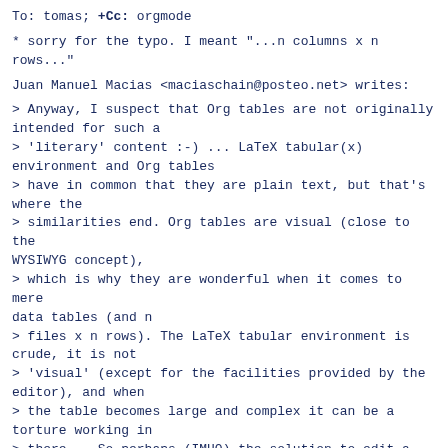To: tomas; +Cc: orgmode
* sorry for the typo. I meant "...n columns x n rows..."
Juan Manuel Macias <maciaschain@posteo.net> writes:
> Anyway, I suspect that Org tables are not originally intended for such a
> 'literary' content :-) ... LaTeX tabular(x) environment and Org tables
> have in common that they are plain text, but that's where the
> similarities end. Org tables are visual (close to the WYSIWYG concept),
> which is why they are wonderful when it comes to mere data tables (and n
> files x n rows). The LaTeX tabular environment is crude, it is not
> 'visual' (except for the facilities provided by the editor), and when
> the table becomes large and complex it can be a torture working in
> there... So perhaps (IMHO) the solution to edit a cell in a dedicated
> buffer could be the least traumatic in complex cells, in case one wants
> to avoid going crazy by editing this kind of huge and literary tables in
> LaTeX ;-)